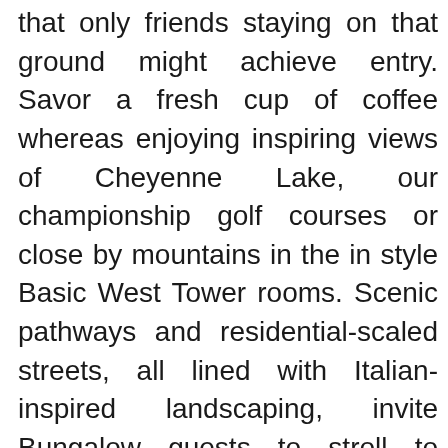that only friends staying on that ground might achieve entry. Savor a fresh cup of coffee whereas enjoying inspiring views of Cheyenne Lake, our championship golf courses or close by mountains in the in style Basic West Tower rooms. Scenic pathways and residential-scaled streets, all lined with Italian-inspired landscaping, invite Bungalow guests to stroll to dinner, stroll to the Coliseum Pool or just explore the breathtaking grounds of the Resort.
Good Lighting One of the biggest lodge decor missteps is strolling into an in any other case nice lodge room and there is not any mild to read by. It’s at all times nice to have a lightweight control near the bed, so your guest will not should stumble